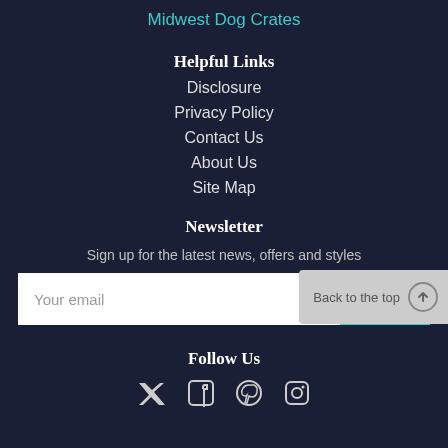Midwest Dog Crates
Helpful Links
Disclosure
Privacy Policy
Contact Us
About Us
Site Map
Newsletter
Sign up for the latest news, offers and styles
Your email
Back to the top
Follow Us